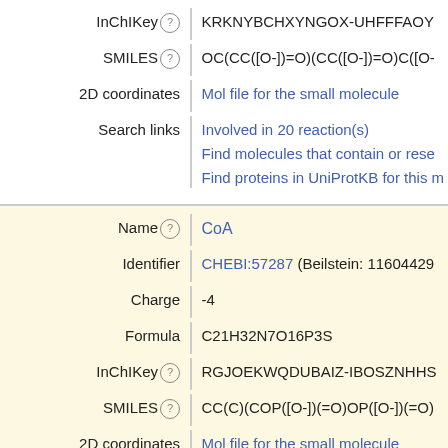InChIKey: KRKNYBCHXYNGOX-UHFFFAOY...
SMILES: OC(CC([O-])=O)(CC([O-])=O)C([O-...
2D coordinates: Mol file for the small molecule
Search links: Involved in 20 reaction(s)
Find molecules that contain or rese...
Find proteins in UniProtKB for this m...
Name: CoA
Identifier: CHEBI:57287 (Beilstein: 11604429...
Charge: -4
Formula: C21H32N7O16P3S
InChIKey: RGJOEKWQDUBAIZ-IBOSZNHHS...
SMILES: CC(C)(COP([O-])(=O)OP([O-])(=O...
2D coordinates: Mol file for the small molecule
Search links: Involved in 1,365 reaction(s)
Find molecules that contain or rese...